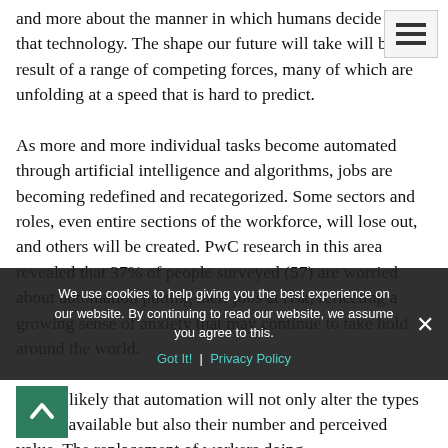and more about the manner in which humans decide to use that technology. The shape our future will take will be the result of a range of competing forces, many of which are unfolding at a speed that is hard to predict.

As more and more individual tasks become automated through artificial intelligence and algorithms, jobs are becoming redefined and recategorized. Some sectors and roles, even entire sections of the workforce, will lose out, and others will be created. PwC research in this area revealed that 37% of people surveyed (57) are worried about automation putting their jobs at risk, reflecting a growing sense of anxiety that may continue to take hold around the world.

...highly likely that automation will not only alter the types of jobs available but also their number and perceived value. The replacement of workers doing
We use cookies to help giving you the best experience on our website. By continuing to read our website, we assume you agree to this.
Got It!   Privacy Policy